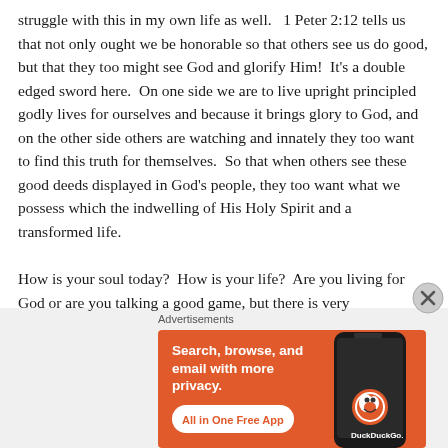struggle with this in my own life as well.   1 Peter 2:12 tells us that not only ought we be honorable so that others see us do good, but that they too might see God and glorify Him!  It's a double edged sword here.  On one side we are to live upright principled godly lives for ourselves and because it brings glory to God, and on the other side others are watching and innately they too want to find this truth for themselves.  So that when others see these good deeds displayed in God's people, they too want what we possess which the indwelling of His Holy Spirit and a transformed life.

How is your soul today?  How is your life?  Are you living for God or are you talking a good game, but there is very
Advertisements
[Figure (infographic): DuckDuckGo advertisement banner with orange background. Left side shows bold white text: 'Search, browse, and email with more privacy.' with a white rounded button reading 'All in One Free App' in orange text. Right side shows a dark smartphone with the DuckDuckGo duck logo and 'DuckDuckGo.' text.]